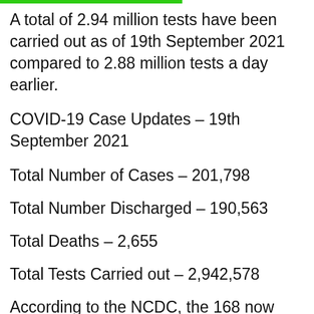A total of 2.94 million tests have been carried out as of 19th September 2021 compared to 2.88 million tests a day earlier.
COVID-19 Case Updates – 19th September 2021
Total Number of Cases – 201,798
Total Number Discharged – 190,563
Total Deaths – 2,655
Total Tests Carried out – 2,942,578
According to the NCDC, the 168 now